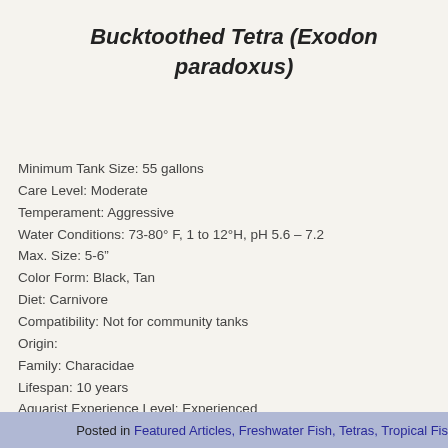Bucktoothed Tetra (Exodon paradoxus)
Minimum Tank Size: 55 gallons
Care Level: Moderate
Temperament: Aggressive
Water Conditions: 73-80° F, 1 to 12°H, pH 5.6 – 7.2
Max. Size: 5-6"
Color Form: Black, Tan
Diet: Carnivore
Compatibility: Not for community tanks
Origin:
Family: Characidae
Lifespan: 10 years
Aquarist Experience Level: Experienced
Posted in Featured Articles, Freshwater Fish, Tetras, Tropical Fis